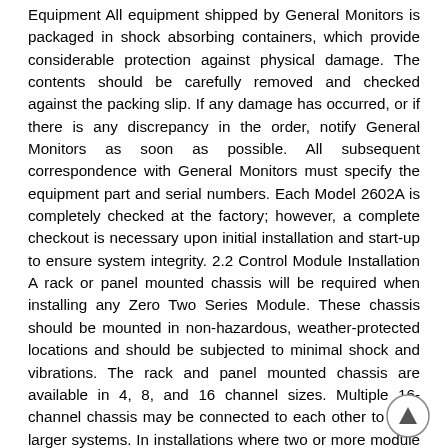Equipment All equipment shipped by General Monitors is packaged in shock absorbing containers, which provide considerable protection against physical damage. The contents should be carefully removed and checked against the packing slip. If any damage has occurred, or if there is any discrepancy in the order, notify General Monitors as soon as possible. All subsequent correspondence with General Monitors must specify the equipment part and serial numbers. Each Model 2602A is completely checked at the factory; however, a complete checkout is necessary upon initial installation and start-up to ensure system integrity. 2.2 Control Module Installation A rack or panel mounted chassis will be required when installing any Zero Two Series Module. These chassis should be mounted in non-hazardous, weather-protected locations and should be subjected to minimal shock and vibrations. The rack and panel mounted chassis are available in 4, 8, and 16 channel sizes. Multiple 16-channel chassis may be connected to each other to form larger systems. In installations where two or more module types are to be mixed in the same chassis, ensure that the individual coding strips match the channel application. The coding strips are pre-configured at the factory and the male portion is already on each module.
[Figure (other): Navigation up-arrow circle button in bottom-right corner]